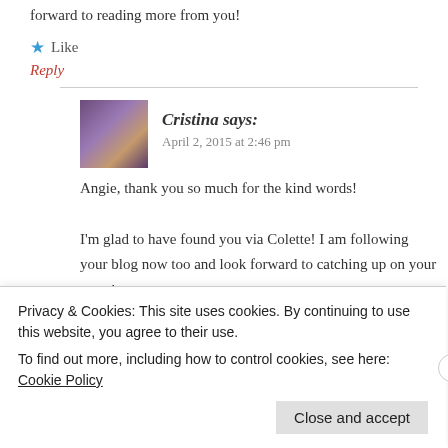forward to reading more from you!
★ Like
Reply
Cristina says:
April 2, 2015 at 2:46 pm
Angie, thank you so much for the kind words! I'm glad to have found you via Colette! I am following your blog now too and look forward to catching up on your posts!
★ Liked by 1 person
Reply
Privacy & Cookies: This site uses cookies. By continuing to use this website, you agree to their use.
To find out more, including how to control cookies, see here: Cookie Policy